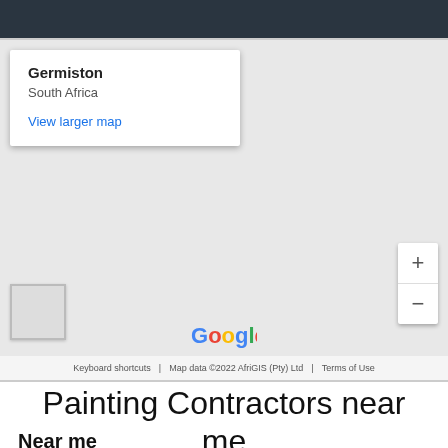[Figure (map): Google Maps embed showing Germiston, South Africa. Map card with bold 'Germiston' heading, 'South Africa' subtitle, and 'View larger map' link. Zoom in/out controls on right. Google logo and footer with 'Keyboard shortcuts', 'Map data ©2022 AfriGIS (Pty) Ltd', 'Terms of Use'.]
Painting Contractors near me
Near me